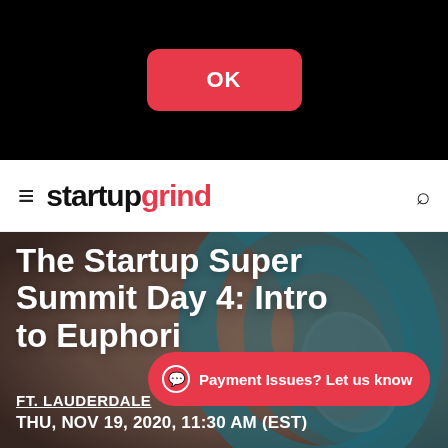[Figure (screenshot): Black top bar with a red rounded OK button centered]
startupgrind
[Figure (photo): Hero banner with blurred teal/brown Startup Grind logo spiral on dark background]
The Startup Super Summit Day 4: Intro to Euphori
Payment Issues? Let us know
FT. LAUDERDALE
THU, NOV 19, 2020, 11:30 AM (EST)